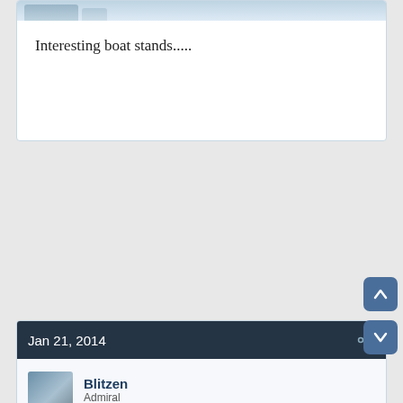[Figure (screenshot): Top portion of a forum post card with a light blue header area showing an avatar placeholder]
Interesting boat stands.....
[Figure (screenshot): Scroll up button (dark blue rounded square with upward arrow)]
Jan 21, 2014
[Figure (screenshot): Scroll down button (dark blue rounded square with downward arrow)]
Blitzen
Admiral